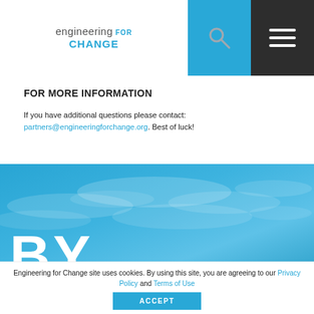engineering FOR CHANGE
FOR MORE INFORMATION
If you have additional questions please contact: partners@engineeringforchange.org. Best of luck!
[Figure (photo): Blue sky with clouds background image with large white bold text 'BY' in the lower left corner]
Engineering for Change site uses cookies. By using this site, you are agreeing to our Privacy Policy and Terms of Use
ACCEPT